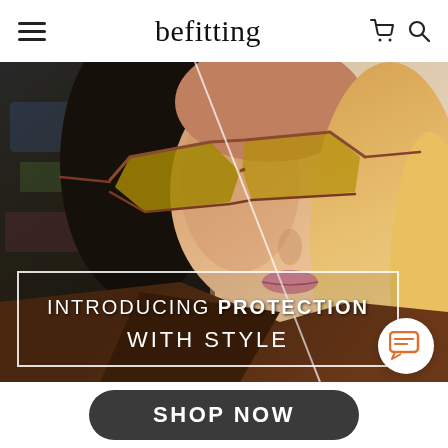befitting
[Figure (photo): Fashion photo of a woman wearing stylish tinted sunglasses, half the image darker/editorial on the left, half bright daylight on the right, with a diagonal split. Text overlay reads: INTRODUCING PROTECTION WITH STYLE inside a white-bordered box.]
SHOP NOW